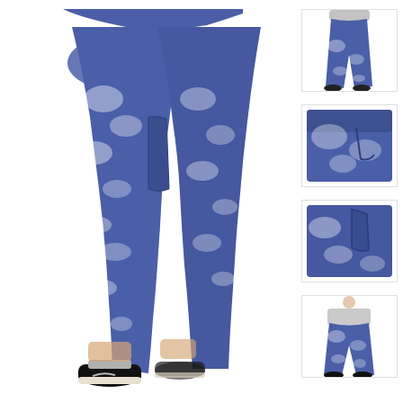[Figure (photo): Main product photo: side view of a person wearing blue and white tie-dye leggings with side pocket detail, paired with black Nike sneakers and gray socks. The leggings have a blue/white swirled tie-dye pattern.]
[Figure (photo): Thumbnail 1: Back/side view of person wearing blue tie-dye leggings, showing high waist and full leg.]
[Figure (photo): Thumbnail 2: Close-up of the waistband and pocket area of the blue tie-dye leggings.]
[Figure (photo): Thumbnail 3: Side view close-up of hip and pocket area of the blue tie-dye leggings.]
[Figure (photo): Thumbnail 4: Full-length front view of person wearing the blue tie-dye leggings, showing the complete garment.]